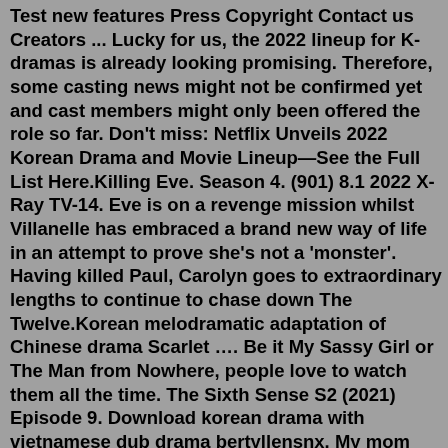Test new features Press Copyright Contact us Creators ... Lucky for us, the 2022 lineup for K-dramas is already looking promising. Therefore, some casting news might not be confirmed yet and cast members might only been offered the role so far. Don't miss: Netflix Unveils 2022 Korean Drama and Movie Lineup—See the Full List Here.Killing Eve. Season 4. (901) 8.1 2022 X-Ray TV-14. Eve is on a revenge mission whilst Villanelle has embraced a brand new way of life in an attempt to prove she's not a 'monster'. Having killed Paul, Carolyn goes to extraordinary lengths to continue to chase down The Twelve.Korean melodramatic adaptation of Chinese drama Scarlet …. Be it My Sassy Girl or The Man from Nowhere, people love to watch them all the time. The Sixth Sense S2 (2021) Episode 9. Download korean drama with vietnamese dub drama bertyllensnx. My mom has told me about this drama, so I watched it. The drama …. Full Episodes Jumong Tagalog ...1 Killing Eve. Sophie Mutevelian. Sandra